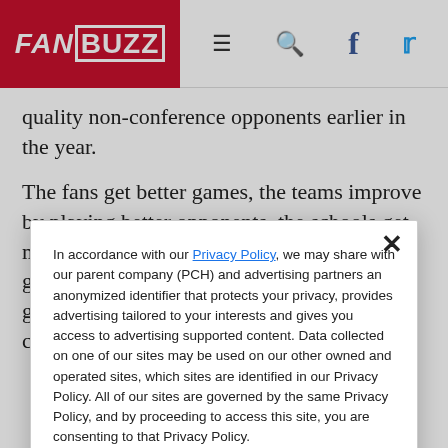FANBUZZ
quality non-conference opponents earlier in the year.
The fans get better games, the teams improve by playing better opponents, the schools get more exposure and TV revenue. You beat a good non-conference opponent and you’re good to go. You lose, you still have the conference season to make
In accordance with our Privacy Policy, we may share with our parent company (PCH) and advertising partners an anonymized identifier that protects your privacy, provides advertising tailored to your interests and gives you access to advertising supported content. Data collected on one of our sites may be used on our other owned and operated sites, which sites are identified in our Privacy Policy. All of our sites are governed by the same Privacy Policy, and by proceeding to access this site, you are consenting to that Privacy Policy.